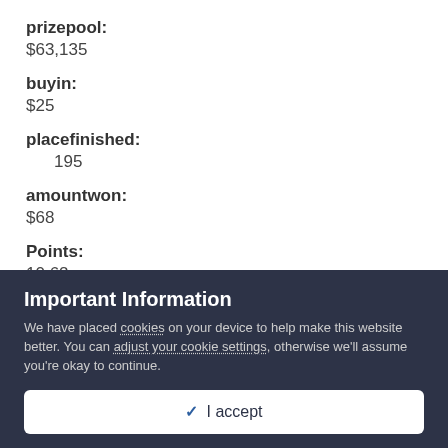prizepool:
$63,135
buyin:
$25
placefinished:
195
amountwon:
$68
Points:
10.62
Important Information
We have placed cookies on your device to help make this website better. You can adjust your cookie settings, otherwise we'll assume you're okay to continue.
✓ I accept